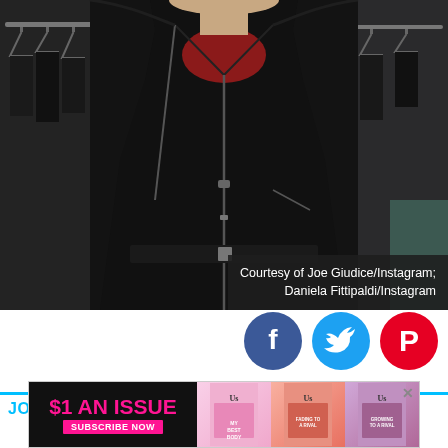[Figure (photo): Man wearing a black leather biker jacket over a red shirt, standing in front of a clothing rack. Face is cut off at the top of the frame.]
Courtesy of Joe Giudice/Instagram; Daniela Fittipaldi/Instagram
[Figure (infographic): Three social media share buttons: Facebook (blue circle with f icon), Twitter (light blue circle with bird icon), Pinterest (red circle with P icon)]
JOE GIUDICE AND DANIELA FITTIPALDI
[Figure (infographic): Advertisement banner: $1 AN ISSUE, SUBSCRIBE NOW, Us Weekly magazine covers shown]